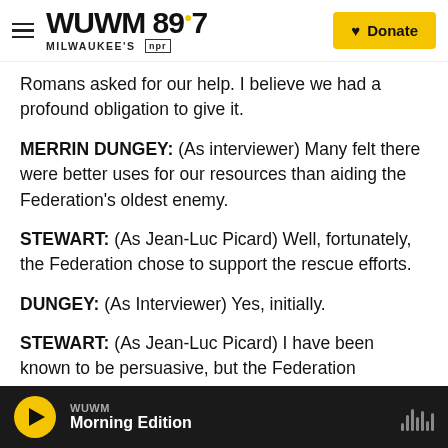WUWM 89.7 Milwaukee's NPR — Donate
Romans asked for our help. I believe we had a profound obligation to give it.
MERRIN DUNGEY: (As interviewer) Many felt there were better uses for our resources than aiding the Federation's oldest enemy.
STEWART: (As Jean-Luc Picard) Well, fortunately, the Federation chose to support the rescue efforts.
DUNGEY: (As Interviewer) Yes, initially.
STEWART: (As Jean-Luc Picard) I have been known to be persuasive, but the Federation understood
WUWM — Morning Edition